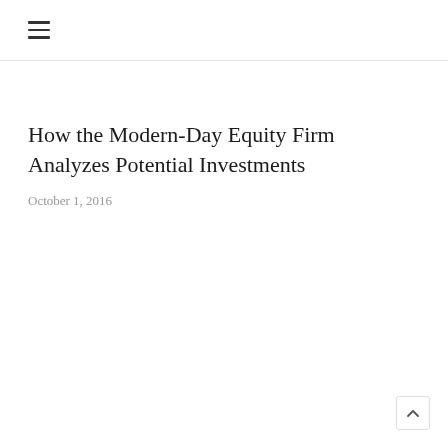≡
How the Modern-Day Equity Firm Analyzes Potential Investments
October 1, 2016